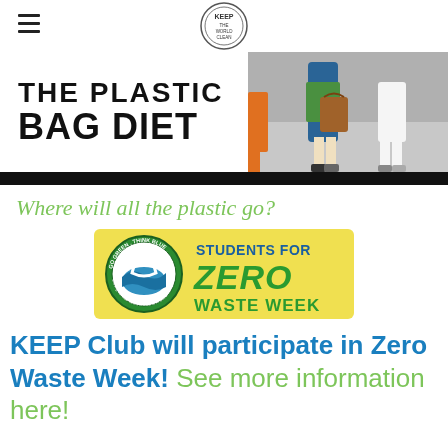KEEP (Keep the World Clean) logo
THE PLASTIC BAG DIET
[Figure (photo): People walking on a street, carrying reusable bags including a brown tote bag]
Where will all the plastic go?
[Figure (logo): Students for Zero Waste Week banner with Go Green Think Blue logo - circular green logo with water/wave imagery, yellow background banner with blue and green hand-lettered text reading STUDENTS FOR ZERO WASTE WEEK]
KEEP Club will participate in Zero Waste Week! See more information here!